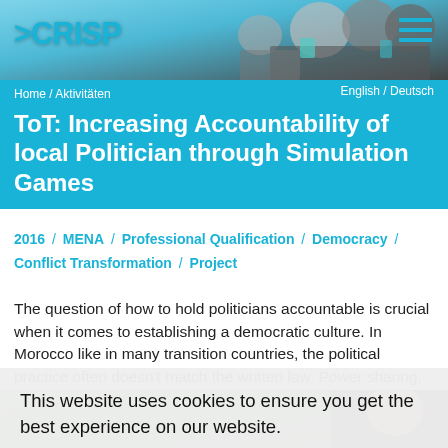[Figure (photo): Header photo of people, group activity scene with colorful background]
SCRISP | Home / Aktivitäten   English / Deutsch
ToT: Increasing Accountability of local Politician through Simulation Games
2016 / MENA / Professional Qualification / Democracy / Conflict Transformation / Project
The question of how to hold politicians accountable is crucial when it comes to establishing a democratic culture. In Morocco like in many transition countries, the political practice often doesn't match the written law. Power sharing,
This website uses cookies to ensure you get the best experience on our website.
Learn more
Got it!
[Figure (photo): Bottom partial image showing people in a workshop/activity setting]